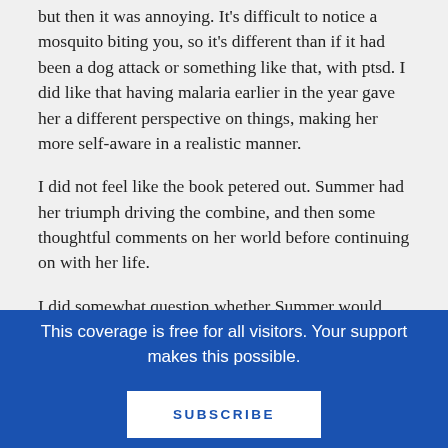but then it was annoying. It's difficult to notice a mosquito biting you, so it's different than if it had been a dog attack or something like that, with ptsd. I did like that having malaria earlier in the year gave her a different perspective on things, making her more self-aware in a realistic manner.
I did not feel like the book petered out. Summer had her triumph driving the combine, and then some thoughtful comments on her world before continuing on with her life.
I did somewhat question whether Summer would have been able and realistically had the knowledge to run the combine. But I also know
This coverage is free for all visitors. Your support makes this possible.
SUBSCRIBE